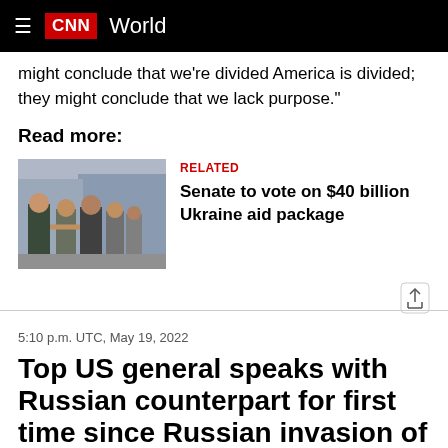CNN World
might conclude that we're divided America is divided; they might conclude that we lack purpose."
Read more:
[Figure (photo): Photo of people shaking hands outdoors, appears to be a political meeting]
RELATED
Senate to vote on $40 billion Ukraine aid package
5:10 p.m. UTC, May 19, 2022
Top US general speaks with Russian counterpart for first time since Russian invasion of Ukraine started